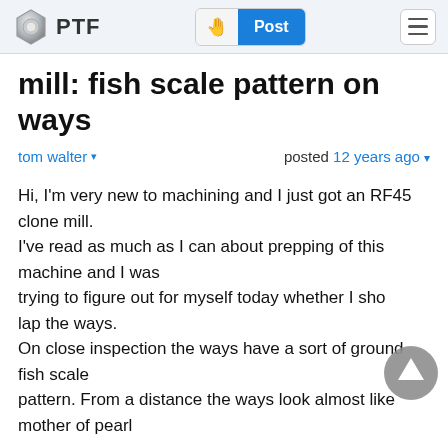PTF | Post
mill: fish scale pattern on ways
tom walter ▾   posted 12 years ago ▾
Hi, I'm very new to machining and I just got an RF45 clone mill. I've read as much as I can about prepping of this machine and I was trying to figure out for myself today whether I sho lap the ways. On close inspection the ways have a sort of ground fish scale pattern. From a distance the ways look almost like mother of pearl